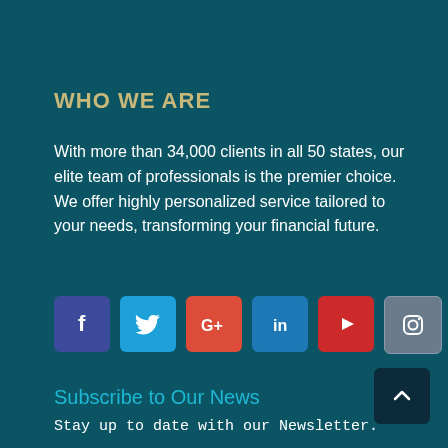WHO WE ARE
With more than 34,000 clients in all 50 states, our elite team of professionals is the premier choice. We offer highly personalized service tailored to your needs, transforming your financial future.
[Figure (infographic): Row of social media icon buttons: Facebook (dark blue), Twitter (light blue), Google+ (red), LinkedIn (blue), YouTube (red), Instagram (gray)]
Subscribe to Our News
Stay up to date with our Newsletter.
Subscribe